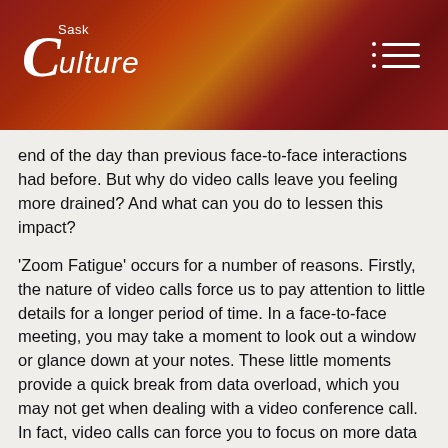SaskCulture
end of the day than previous face-to-face interactions had before. But why do video calls leave you feeling more drained? And what can you do to lessen this impact?
'Zoom Fatigue' occurs for a number of reasons. Firstly, the nature of video calls force us to pay attention to little details for a longer period of time. In a face-to-face meeting, you may take a moment to look out a window or glance down at your notes. These little moments provide a quick break from data overload, which you may not get when dealing with a video conference call. In fact, video calls can force you to focus on more data overall, as you process tone, facial expressions, and other non-verbal cues and don't have much time to look away for fear of missing something important.
Secondly, there is a state of 'hyperawareness' that comes from being on a video call. In a face-to-face meeting, unless